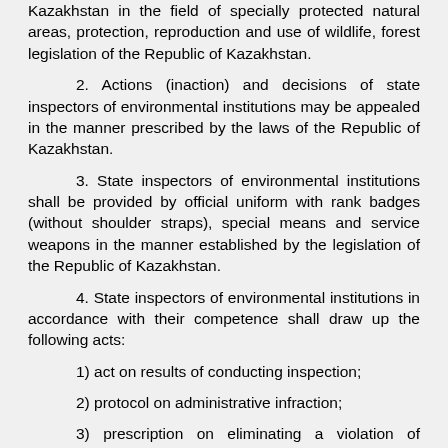Kazakhstan in the field of specially protected natural areas, protection, reproduction and use of wildlife, forest legislation of the Republic of Kazakhstan.
2. Actions (inaction) and decisions of state inspectors of environmental institutions may be appealed in the manner prescribed by the laws of the Republic of Kazakhstan.
3. State inspectors of environmental institutions shall be provided by official uniform with rank badges (without shoulder straps), special means and service weapons in the manner established by the legislation of the Republic of Kazakhstan.
4. State inspectors of environmental institutions in accordance with their competence shall draw up the following acts:
1) act on results of conducting inspection;
2) protocol on administrative infraction;
3) prescription on eliminating a violation of requirements of the legislation of the Republic of Kazakhstan in the field of especially protected natural areas, protection, reproduction and use of animal world, forest legislation of the Republic of Kazakhstan;
4) regulation:
on bringing of guilty persons to administrative liability in case of breaching the legislation of the Republic of Kazakhstan in the field of especially protected natural areas, protection, reproduction and use of animal world, forest legislation of the